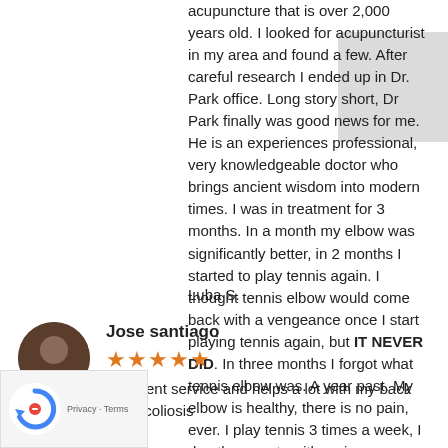acupuncture that is over 2,000 years old. I looked for acupuncturist in my area and found a few. After careful research I ended up in Dr. Park office. Long story short, Dr Park finally was good news for me. He is an experiences professional, very knowledgeable doctor who brings ancient wisdom into modern times. I was in treatment for 3 months. In a month my elbow was significantly better, in 2 months I started to play tennis again. I thought tennis elbow would come back with a vengeance once I start playing tennis again, but IT NEVER DID. In three months I forgot what tennis elbow was. A year past. My elbow is healthy, there is no pain, ever. I play tennis 3 times a week, I do other sports with no issues whatsoever. I am very grateful to Dr Park. I highly recommend him. Knowledgeable, punctual, courteous - Dr Park is someone you can trust to address your health issues.
Luba S.
Jose santiago
[Figure (other): Five orange star rating icons]
Excellent service and helps a lot with my back with scoliosis
[Figure (other): reCAPTCHA widget with Privacy and Terms links]